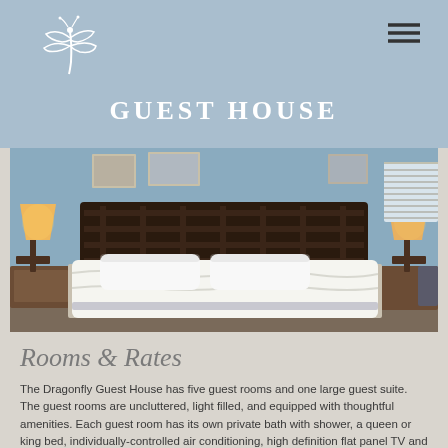[Figure (logo): Dragonfly Guest House logo — white dragonfly illustration with 'GUEST HOUSE' text below on light blue header background]
[Figure (photo): Interior bedroom photo showing a neatly made bed with white bedding, dark wood headboard, two bedside lamps, framed artwork on walls, and window with blinds]
Rooms & Rates
The Dragonfly Guest House has five guest rooms and one large guest suite. The guest rooms are uncluttered, light filled, and equipped with thoughtful amenities. Each guest room has its own private bath with shower, a queen or king bed, individually-controlled air conditioning, high definition flat panel TV and mini fridge.
Plush bathrobes, Turkish Towels™, hairdryers, soap and shampoo are among the amenities provided in each room. Each room is tastefully